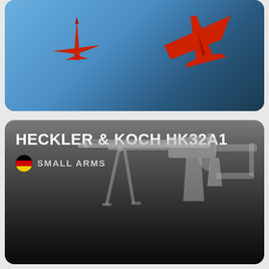[Figure (photo): Top card showing two red model aircraft/planes on a blue sky background]
HECKLER & KOCH HK32A1
SMALL ARMS
[Figure (photo): Stylized grey/white 3D render of a Heckler & Koch HK32A1 assault rifle with bipod and magazine on dark gradient background]